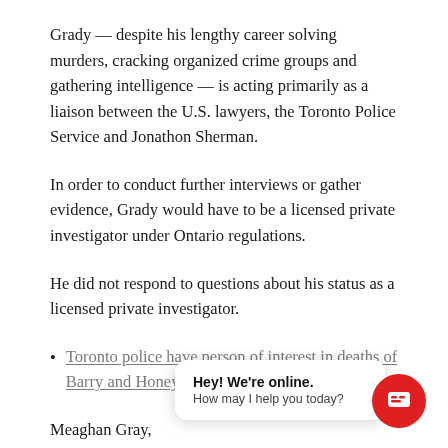Grady — despite his lengthy career solving murders, cracking organized crime groups and gathering intelligence — is acting primarily as a liaison between the U.S. lawyers, the Toronto Police Service and Jonathon Sherman.
In order to conduct further interviews or gather evidence, Grady would have to be a licensed private investigator under Ontario regulations.
He did not respond to questions about his status as a licensed private investigator.
Toronto police have person of interest in deaths of Barry and Honey Sherman
Meaghan Gray, manag… [partially obscured] …ons Toronto police, said bo… [partially obscured]
[Figure (other): Live chat widget overlay with speech bubble saying 'Hey! We're online. How may I help you today?' and a red circular chat button with speech bubble icon in the bottom right corner.]